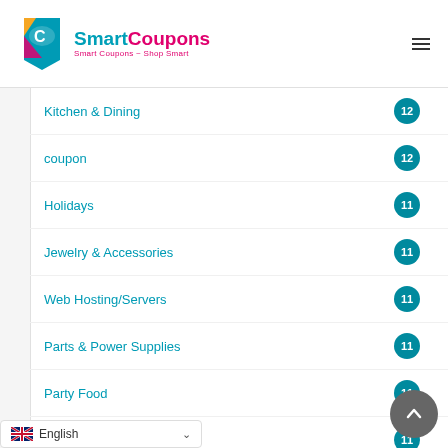[Figure (logo): SmartCoupons logo with colorful tag icon and text. Tagline: Smart Coupons ~ Shop Smart]
Kitchen & Dining 12
coupon 12
Holidays 11
Jewelry & Accessories 11
Web Hosting/Servers 11
Parts & Power Supplies 11
Party Food 11
Widescreen TV 11
Headphones 11
English (language selector)